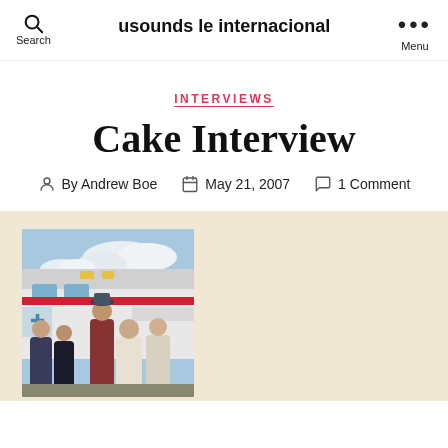usounds le internacional
INTERVIEWS
Cake Interview
By Andrew Boe  May 21, 2007  1 Comment
[Figure (photo): Group photo of the band Cake standing in front of an ambulance vehicle, five members posing outdoors with a blue sky and clouds in the background.]